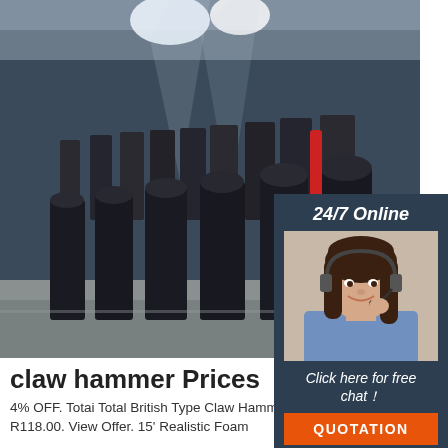[Figure (photo): Industrial warehouse interior with rows of large black machinery (pellet mills/grinders) on a concrete floor, dramatic lighting with light beams from ceiling skylights]
[Figure (photo): Customer service agent - woman with dark hair wearing headset and blue shirt, smiling. Panel has dark navy background with '24/7 Online' text, 'Click here for free chat!' text, and orange QUOTATION button]
claw hammer Prices
4% OFF. Totai Total British Type Claw Hammer. Was R124.00. Now R118.00. View Offer. 15' Realistic Foam